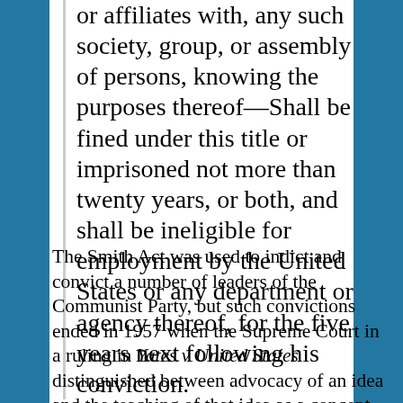or affiliates with, any such society, group, or assembly of persons, knowing the purposes thereof—Shall be fined under this title or imprisoned not more than twenty years, or both, and shall be ineligible for employment by the United States or any department or agency thereof, for the five years next following his conviction.
The Smith Act was used to indict and convict a number of leaders of the Communist Party, but such convictions ended in 1957 when the Supreme Court in a ruling in Yates v United States distinguished between advocacy of an idea and the teaching of that idea as a concept.